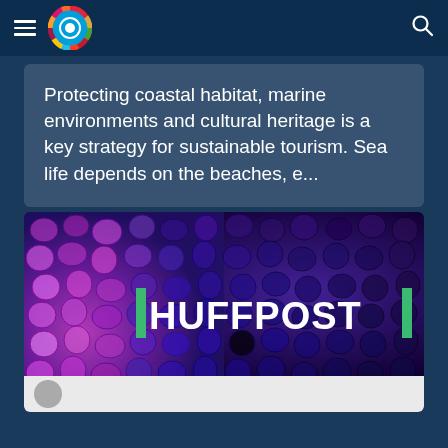Navigation header with hamburger menu, SDG logo, and search icon
Protecting coastal habitat, marine environments and cultural heritage is a key strategy for sustainable tourism. Sea life depends on the beaches, e...
[Figure (photo): HuffPost logo overlaid on a purple and magenta abstract background featuring densely packed organic shapes resembling cells or sea creatures. The HuffPost text is in bold white with green vertical bar accents on each side.]